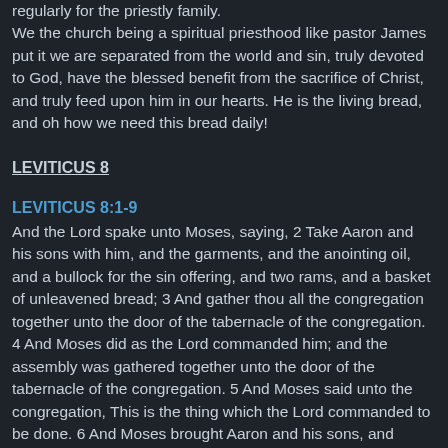regularly for the priestly family. We the church being a spiritual priesthood like pastor James put it we are separated from the world and sin, truly devoted to God, have the blessed benefit from the sacrifice of Christ, and truly feed upon him in our hearts. He is the living bread, and oh how we need this bread daily!
LEVITICUS 8
LEVITICUS 8:1-9
And the Lord spake unto Moses, saying, 2 Take Aaron and his sons with him, and the garments, and the anointing oil, and a bullock for the sin offering, and two rams, and a basket of unleavened bread; 3 And gather thou all the congregation together unto the door of the tabernacle of the congregation. 4 And Moses did as the Lord commanded him; and the assembly was gathered together unto the door of the tabernacle of the congregation. 5 And Moses said unto the congregation, This is the thing which the Lord commanded to be done. 6 And Moses brought Aaron and his sons, and washed them with water. 7 And he put upon him the coat, and girded him with the girdle, and clothed him with the robe,